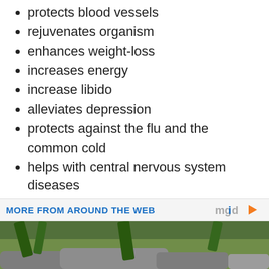protects blood vessels
rejuvenates organism
enhances weight-loss
increases energy
increase libido
alleviates depression
protects against the flu and the common cold
helps with central nervous system diseases
has anti-carcinogenic effects
Magnesium Chloride Home Remedy – RECIPE:
MORE FROM AROUND THE WEB
[Figure (photo): Photo of tropical plants and rocks, likely a nature/health content thumbnail]